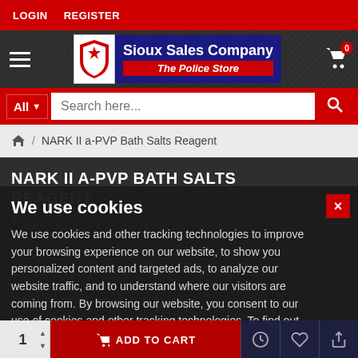LOGIN  REGISTER
[Figure (logo): Sioux Sales Company - The Police Store logo with shield emblem]
Search here...
NARK II a-PVP Bath Salts Reagent
NARK II A-PVP BATH SALTS REAGENT
We use cookies
We use cookies and other tracking technologies to improve your browsing experience on our website, to show you personalized content and targeted ads, to analyze our website traffic, and to understand where our visitors are coming from. By browsing our website, you consent to our use of cookies and other tracking technologies. To find out more, please visit our Cookies Policy.